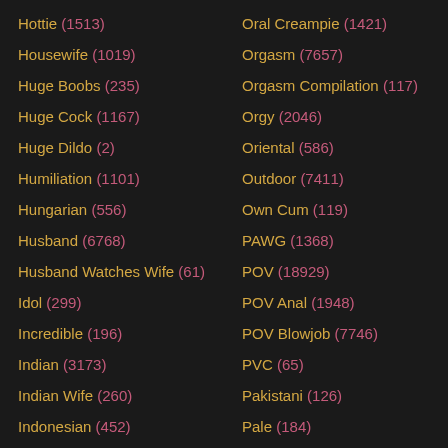Hottie (1513)
Housewife (1019)
Huge Boobs (235)
Huge Cock (1167)
Huge Dildo (2)
Humiliation (1101)
Hungarian (556)
Husband (6768)
Husband Watches Wife (61)
Idol (299)
Incredible (196)
Indian (3173)
Indian Wife (260)
Indonesian (452)
Innocent (504)
Oral Creampie (1421)
Orgasm (7657)
Orgasm Compilation (117)
Orgy (2046)
Oriental (586)
Outdoor (7411)
Own Cum (119)
PAWG (1368)
POV (18929)
POV Anal (1948)
POV Blowjob (7746)
PVC (65)
Pakistani (126)
Pale (184)
Panties (2788)